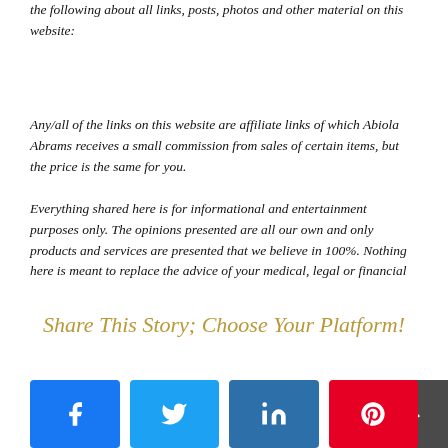the following about all links, posts, photos and other material on this website:
Any/all of the links on this website are affiliate links of which Abiola Abrams receives a small commission from sales of certain items, but the price is the same for you.

Everything shared here is for informational and entertainment purposes only. The opinions presented are all our own and only products and services are presented that we believe in 100%. Nothing here is meant to replace the advice of your medical, legal or financial
Share This Story; Choose Your Platform!